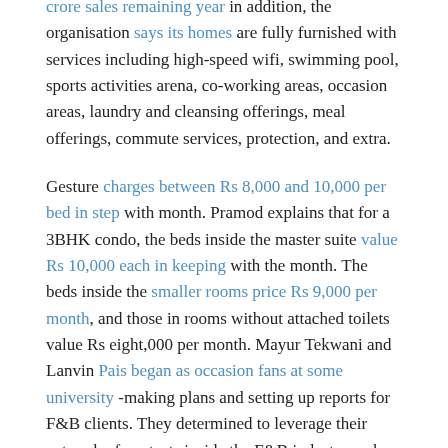crore sales remaining year in addition, the organisation says its homes are fully furnished with services including high-speed wifi, swimming pool, sports activities arena, co-working areas, occasion areas, laundry and cleansing offerings, meal offerings, commute services, protection, and extra.
Gesture charges between Rs 8,000 and 10,000 per bed in step with month. Pramod explains that for a 3BHK condo, the beds inside the master suite value Rs 10,000 each in keeping with the month. The beds inside the smaller rooms price Rs 9,000 per month, and those in rooms without attached toilets value Rs eight,000 per month. Mayur Tekwani and Lanvin Pais began as occasion fans at some university -making plans and setting up reports for F&B clients. They determined to leverage their network of contacts inside the F&B industry and begin a commercial enterprise. Both of them give up their full-time jobs to begin Think Tree, and the basement of Mayur’s residence became their first workplace. They were most effective 22 after they commenced up.
Lanvin had been establishing activities for Bengaluru eating places and pubs earlier than Mayur. So, when Mayur frequented Lanwin’s